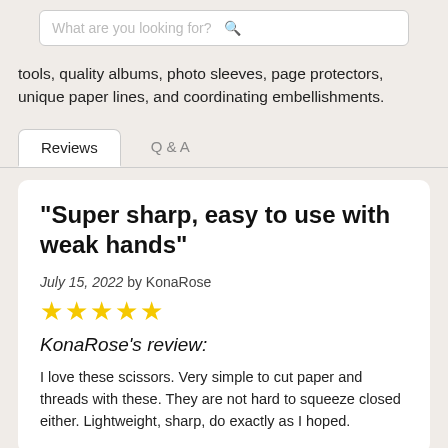[Figure (screenshot): Search bar with placeholder text 'What are you looking for?' and a search icon on the right]
tools, quality albums, photo sleeves, page protectors, unique paper lines, and coordinating embellishments.
Reviews | Q & A (tabs)
"Super sharp, easy to use with weak hands"
July 15, 2022 by KonaRose
[Figure (other): 5 yellow stars rating]
KonaRose's review:
I love these scissors. Very simple to cut paper and threads with these. They are not hard to squeeze closed either. Lightweight, sharp, do exactly as I hoped.